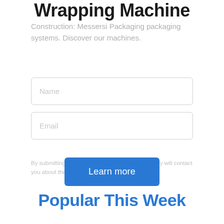Wrapping Machine
Construction: Messersi Packaging packaging systems. Discover our machines.
[Figure (screenshot): Web form with Name and Email input fields and a 'Learn more' button]
By submitting your info to Messersi Packaging, they will contact you about the request above.
Popular This Week